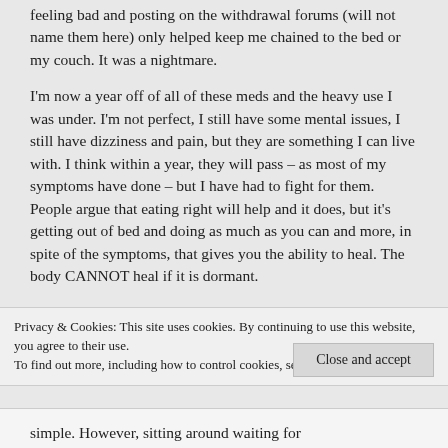feeling bad and posting on the withdrawal forums (will not name them here) only helped keep me chained to the bed or my couch. It was a nightmare.
I'm now a year off of all of these meds and the heavy use I was under. I'm not perfect, I still have some mental issues, I still have dizziness and pain, but they are something I can live with. I think within a year, they will pass – as most of my symptoms have done – but I have had to fight for them. People argue that eating right will help and it does, but it's getting out of bed and doing as much as you can and more, in spite of the symptoms, that gives you the ability to heal. The body CANNOT heal if it is dormant.
Privacy & Cookies: This site uses cookies. By continuing to use this website, you agree to their use.
To find out more, including how to control cookies, see here: Cookie Policy
Close and accept
simple. However, sitting around waiting for